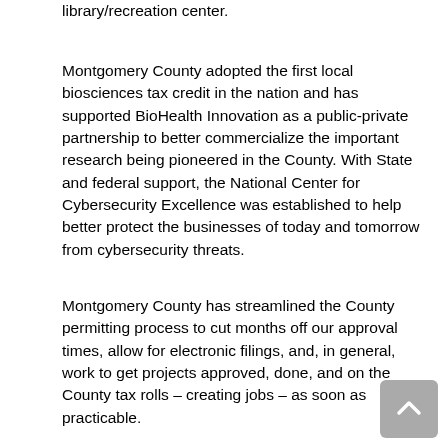library/recreation center.
Montgomery County adopted the first local biosciences tax credit in the nation and has supported BioHealth Innovation as a public-private partnership to better commercialize the important research being pioneered in the County. With State and federal support, the National Center for Cybersecurity Excellence was established to help better protect the businesses of today and tomorrow from cybersecurity threats.
Montgomery County has streamlined the County permitting process to cut months off our approval times, allow for electronic filings, and, in general, work to get projects approved, done, and on the County tax rolls – creating jobs – as soon as practicable.